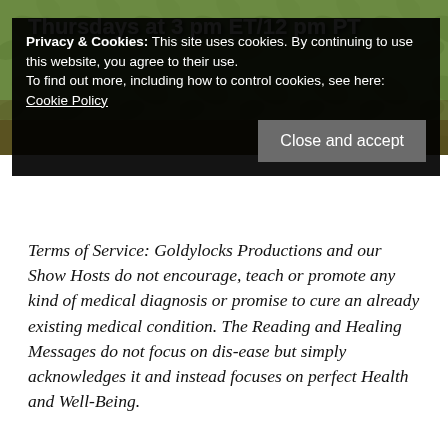[Figure (screenshot): Banner image with text 'Thursdays at 3 pm ET/12 pm PT' over a nature/outdoor background]
Privacy & Cookies: This site uses cookies. By continuing to use this website, you agree to their use. To find out more, including how to control cookies, see here: Cookie Policy
Close and accept
Terms of Service: Goldylocks Productions and our Show Hosts do not encourage, teach or promote any kind of medical diagnosis or promise to cure an already existing medical condition. The Reading and Healing Messages do not focus on dis-ease but simply acknowledges it and instead focuses on perfect Health and Well-Being.